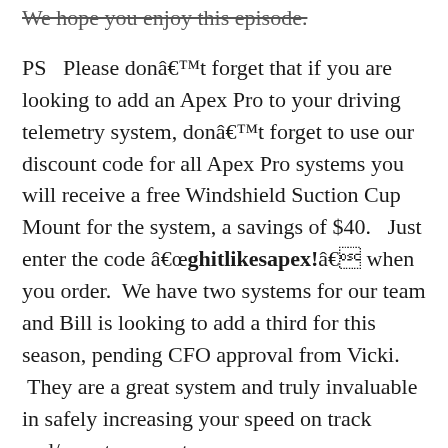We hope you enjoy this episode.
PS  Please donât forget that if you are looking to add an Apex Pro to your driving telemetry system, donât forget to use our discount code for all Apex Pro systems you will receive a free Windshield Suction Cup Mount for the system, a savings of $40.  Just enter the code âghitlikesapex!â when you order.  We have two systems for our team and Bill is looking to add a third for this season, pending CFO approval from Vicki.  They are a great system and truly invaluable in safely increasing your speed on track and/or autocross etc.
Best regards,